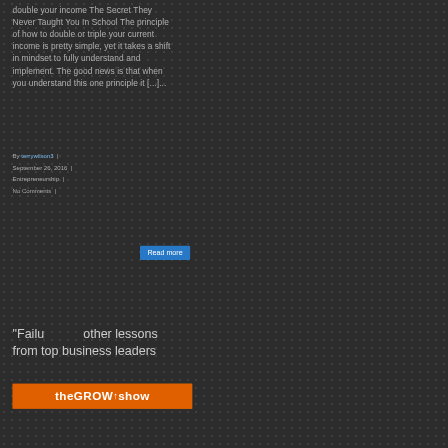double your income The Secret They Never Taught You In School The principle of how to double or triple your current income is pretty simple, yet it takes a shift in mindset to fully understand and implement. The good news is that when you understand this one principle it [...]...
By terrywilson3 | September 26, 2016 | Entrepreneurship | No Comments |
"Failu other lessons from top business leaders
[Figure (screenshot): Chat popup overlay with TW3 logo and message 'Hi there, have a question? Text us here.' with close button and blue chat icon]
[Figure (illustration): Orange banner with theGROWTHshow logo text]